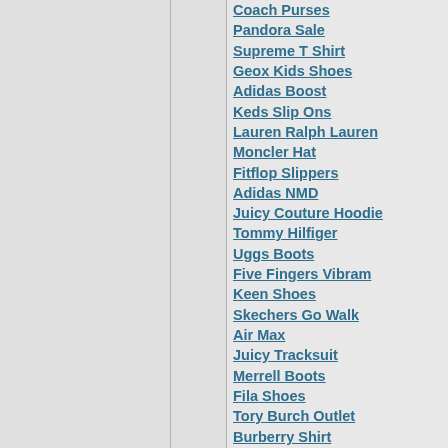Coach Purses
Pandora Sale
Supreme T Shirt
Geox Kids Shoes
Adidas Boost
Keds Slip Ons
Lauren Ralph Lauren
Moncler Hat
Fitflop Slippers
Adidas NMD
Juicy Couture Hoodie
Tommy Hilfiger
Uggs Boots
Five Fingers Vibram
Keen Shoes
Skechers Go Walk
Air Max
Juicy Tracksuit
Merrell Boots
Fila Shoes
Tory Burch Outlet
Burberry Shirt
Juicy Couture Tracksuit Outlet
North Face
Keds Shoes
Dolce Gabbana Bags
Ecco Shoes
Tommy Hilfiger Outlet
Under Armour Shoes
Tommy Hilfiger Dresses
Puma Trainers Womens
Hydro Flask 18 Oz
Mizuno Wave Inspire
Soccer Cleats
Burberry
Keen Boots
Hydro Flask 32 Oz
Coach Handbags